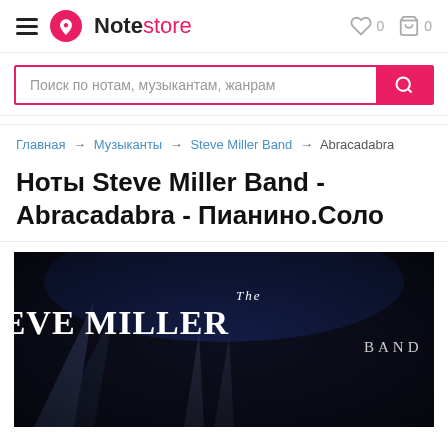Notestore — navigation header with hamburger menu, logo, heart icon 0, cart icon 0
Поиск по нотам, музыкантам, жанрам
Главная → Музыканты → Steve Miller Band → Abracadabra
Ноты Steve Miller Band - Abracadabra - Пианино.Соло
[Figure (photo): Album cover of The Steve Miller Band on a dark concert stage background with stage lights. Text reads THE STEVE MILLER BAND in white serif font.]